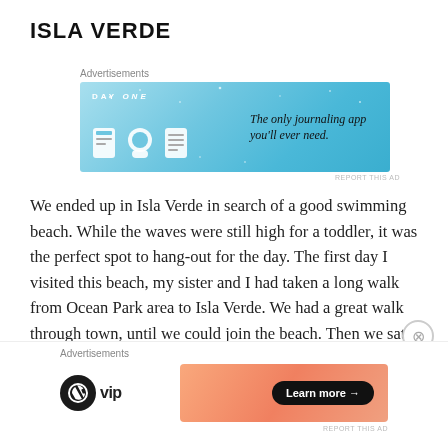ISLA VERDE
[Figure (other): Advertisement banner for Day One journaling app with blue background, icons, and tagline 'The only journaling app you'll ever need.']
We ended up in Isla Verde in search of a good swimming beach. While the waves were still high for a toddler, it was the perfect spot to hang-out for the day. The first day I visited this beach, my sister and I had taken a long walk from Ocean Park area to Isla Verde. We had a great walk through town, until we could join the beach. Then we sat on a patio at the Intercontinental San Juan to enjoy a drink and the view of the Atlantic. We didn't stay at the
[Figure (other): Advertisement banner for WordPress VIP with gradient orange/pink background and 'Learn more' button]